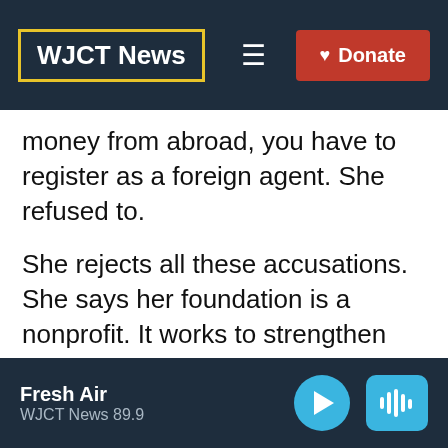WJCT News
money from abroad, you have to register as a foreign agent. She refused to.
She rejects all these accusations. She says her foundation is a nonprofit. It works to strengthen transparency and democratic values as well as fund independent journalism and media. And she says her house arrest is part of a wider move by Ortega to defame and close all legitimate
Fresh Air
WJCT News 89.9